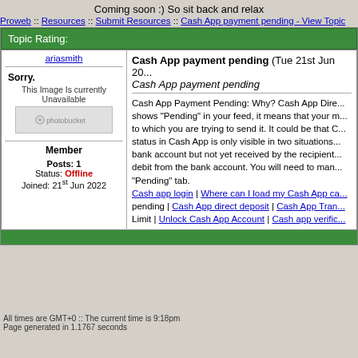Coming soon :) So sit back and relax
Proweb :: Resources :: Submit Resources :: Cash App payment pending - View Topic
Topic Rating:
ariasmith
[Figure (other): Photobucket image placeholder showing Sorry. This Image Is Currently Unavailable]
Member
Posts: 1
Status: Offline
Joined: 21st Jun 2022
Cash App payment pending (Tue 21st Jun 20...) Cash App payment pending
Cash App Payment Pending: Why? Cash App Direct... shows "Pending" in your feed, it means that your m... to which you are trying to send it. It could be that C... status in Cash App is only visible in two situations... bank account but not yet received by the recipient... debit from the bank account. You will need to man... "Pending" tab.
Cash app login | Where can I load my Cash App ca... pending | Cash App direct deposit | Cash App Tran... Limit | Unlock Cash App Account | Cash app verific...
All times are GMT+0 :: The current time is 9:18pm
Page generated in 1.1767 seconds